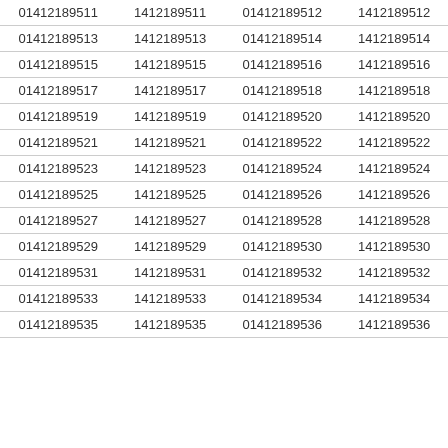| 01412189511 | 1412189511 | 01412189512 | 1412189512 |
| 01412189513 | 1412189513 | 01412189514 | 1412189514 |
| 01412189515 | 1412189515 | 01412189516 | 1412189516 |
| 01412189517 | 1412189517 | 01412189518 | 1412189518 |
| 01412189519 | 1412189519 | 01412189520 | 1412189520 |
| 01412189521 | 1412189521 | 01412189522 | 1412189522 |
| 01412189523 | 1412189523 | 01412189524 | 1412189524 |
| 01412189525 | 1412189525 | 01412189526 | 1412189526 |
| 01412189527 | 1412189527 | 01412189528 | 1412189528 |
| 01412189529 | 1412189529 | 01412189530 | 1412189530 |
| 01412189531 | 1412189531 | 01412189532 | 1412189532 |
| 01412189533 | 1412189533 | 01412189534 | 1412189534 |
| 01412189535 | 1412189535 | 01412189536 | 1412189536 |